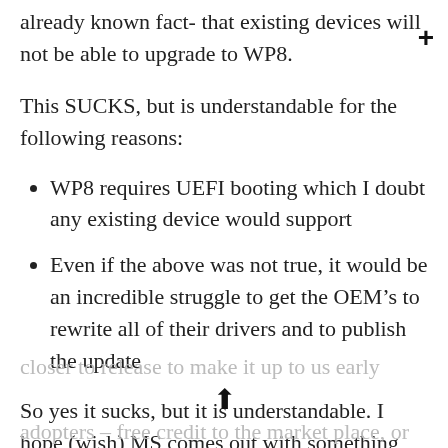already known fact- that existing devices will not be able to upgrade to WP8.
This SUCKS, but is understandable for the following reasons:
WP8 requires UEFI booting which I doubt any existing device would support
Even if the above was not true, it would be an incredible struggle to get the OEM’s to rewrite all of their drivers and to publish the update
So yes it sucks, but it is understandable. I hope (wish) MS comes out with something closer to release to make it up to us early adopters – free credit to the market place, or